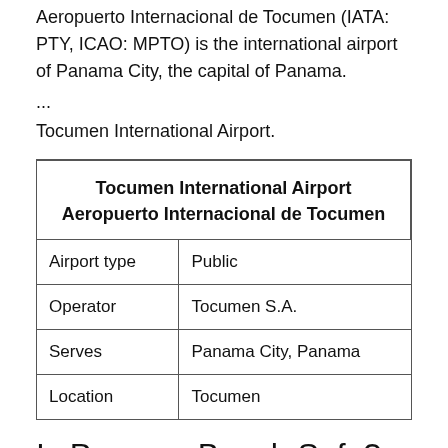Aeropuerto Internacional de Tocumen (IATA: PTY, ICAO: MPTO) is the international airport of Panama City, the capital of Panama.
...
Tocumen International Airport.
|  |  |
| --- | --- |
| Airport type | Public |
| Operator | Tocumen S.A. |
| Serves | Panama City, Panama |
| Location | Tocumen |
Is Panama Beach Safe?